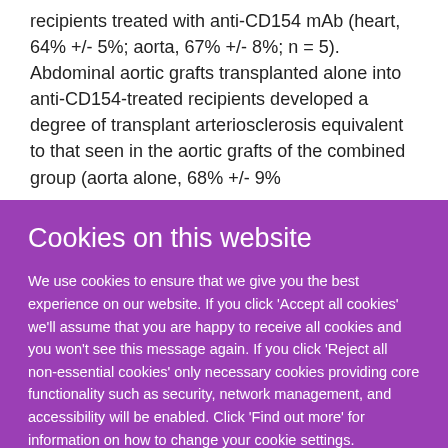recipients treated with anti-CD154 mAb (heart, 64% +/- 5%; aorta, 67% +/- 8%; n = 5). Abdominal aortic grafts transplanted alone into anti-CD154-treated recipients developed a degree of transplant arteriosclerosis equivalent to that seen in the aortic grafts of the combined group (aorta alone, 68% +/- 9%
Cookies on this website
We use cookies to ensure that we give you the best experience on our website. If you click 'Accept all cookies' we'll assume that you are happy to receive all cookies and you won't see this message again. If you click 'Reject all non-essential cookies' only necessary cookies providing core functionality such as security, network management, and accessibility will be enabled. Click 'Find out more' for information on how to change your cookie settings.